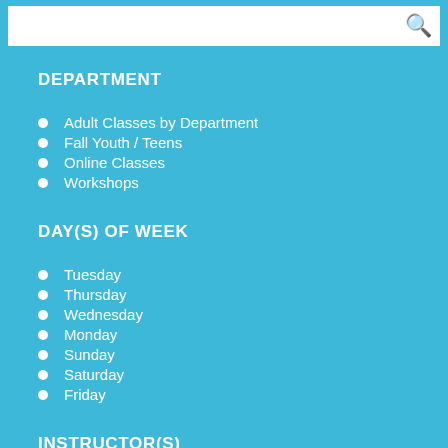DEPARTMENT
Adult Classes by Department
Fall Youth / Teens
Online Classes
Workshops
DAY(S) OF WEEK
Tuesday
Thursday
Wednesday
Monday
Sunday
Saturday
Friday
INSTRUCTOR(S)
Alex Boersma
Alex Sherman